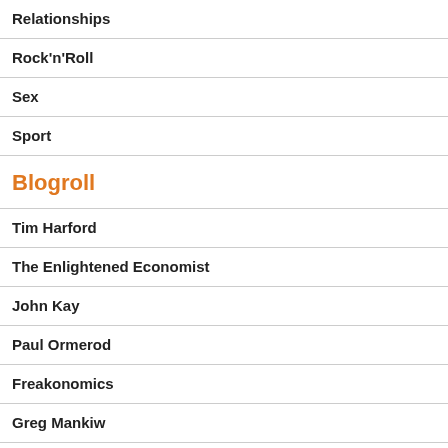Relationships
Rock'n'Roll
Sex
Sport
Blogroll
Tim Harford
The Enlightened Economist
John Kay
Paul Ormerod
Freakonomics
Greg Mankiw